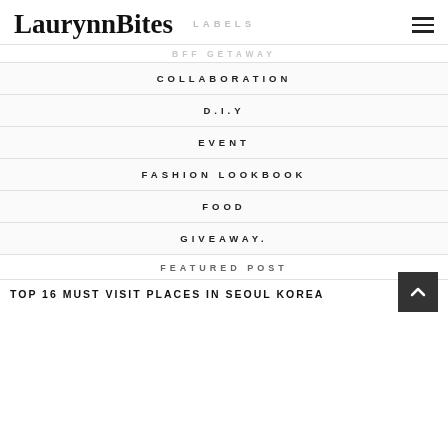LaurynnBites
LABELS
BFF GETAWAY
COLLABORATION
D.I.Y
EVENT
FASHION LOOKBOOK
FOOD
GIVEAWAY.
FEATURED POST
TOP 16 MUST VISIT PLACES IN SEOUL KOREA